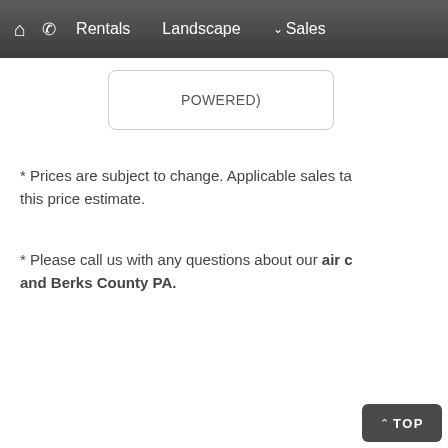🏠  📞  Rentals  Landscape  ∨ Sales
POWERED)
* Prices are subject to change. Applicable sales ta this price estimate.
* Please call us with any questions about our air c and Berks County PA.